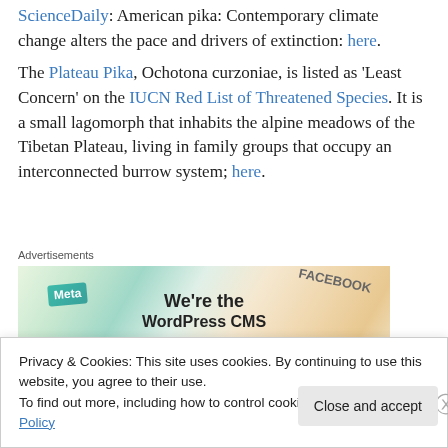ScienceDaily: American pika: Contemporary climate change alters the pace and drivers of extinction: here.
The Plateau Pika, Ochotona curzoniae, is listed as 'Least Concern' on the IUCN Red List of Threatened Species. It is a small lagomorph that inhabits the alpine meadows of the Tibetan Plateau, living in family groups that occupy an interconnected burrow system; here.
[Figure (screenshot): Advertisement banner showing social media brand cards (Meta, Facebook) and text 'We're the WordPress CMS']
Privacy & Cookies: This site uses cookies. By continuing to use this website, you agree to their use. To find out more, including how to control cookies, see here: Cookie Policy